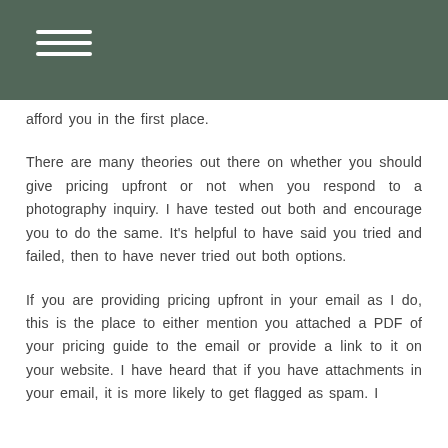afford you in the first place.
There are many theories out there on whether you should give pricing upfront or not when you respond to a photography inquiry. I have tested out both and encourage you to do the same. It's helpful to have said you tried and failed, then to have never tried out both options.
If you are providing pricing upfront in your email as I do, this is the place to either mention you attached a PDF of your pricing guide to the email or provide a link to it on your website. I have heard that if you have attachments in your email, it is more likely to get flagged as spam. I